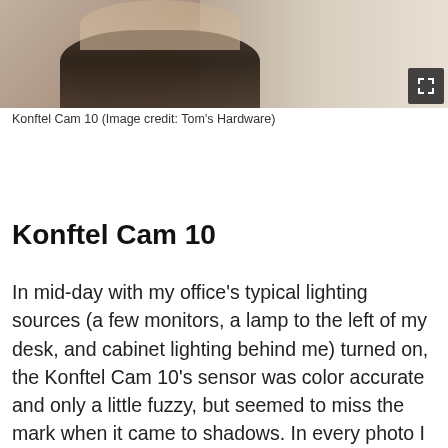[Figure (photo): Partial photo of a person with long hair seen from behind/side, in a room with wooden floor. Image is cropped showing only the upper portion of the person.]
Konftel Cam 10 (Image credit: Tom's Hardware)
Konftel Cam 10
In mid-day with my office's typical lighting sources (a few monitors, a lamp to the left of my desk, and cabinet lighting behind me) turned on, the Konftel Cam 10's sensor was color accurate and only a little fuzzy, but seemed to miss the mark when it came to shadows. In every photo I took, my right eye (your left) was bathed in shadow, which made me look like a cool comic book character more than the tech reporter I actually am. I don't mind the change, but there's no denying that it's a little silly.